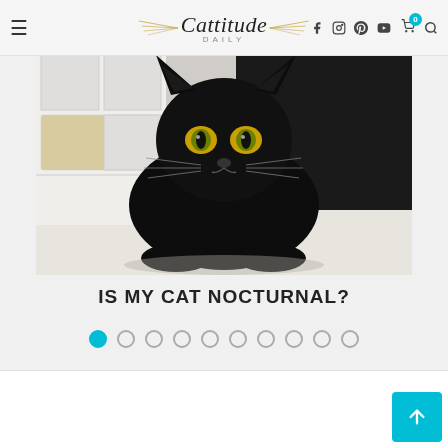Cattitude Daily — navigation header with hamburger menu, logo, social icons (Facebook, Instagram, Pinterest, YouTube, cart, search)
[Figure (photo): A black cat with bright yellow-amber eyes sitting on a light floor in front of a black panel and white shelving unit, looking directly at camera]
IS MY CAT NOCTURNAL?
[Figure (other): Slideshow pagination dots — 10 circles, first one filled in teal/cyan indicating current slide]
[Figure (other): Back to top button — teal/cyan square button with upward arrow in bottom right corner]